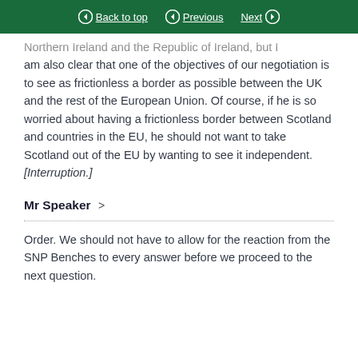Back to top | Previous | Next
Northern Ireland and the Republic of Ireland, but I am also clear that one of the objectives of our negotiation is to see as frictionless a border as possible between the UK and the rest of the European Union. Of course, if he is so worried about having a frictionless border between Scotland and countries in the EU, he should not want to take Scotland out of the EU by wanting to see it independent. [Interruption.]
Mr Speaker >
Order. We should not have to allow for the reaction from the SNP Benches to every answer before we proceed to the next question.